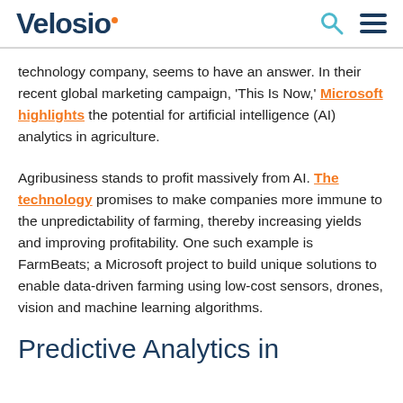Velosio
technology company, seems to have an answer. In their recent global marketing campaign, 'This Is Now,' Microsoft highlights the potential for artificial intelligence (AI) analytics in agriculture.
Agribusiness stands to profit massively from AI. The technology promises to make companies more immune to the unpredictability of farming, thereby increasing yields and improving profitability. One such example is FarmBeats; a Microsoft project to build unique solutions to enable data-driven farming using low-cost sensors, drones, vision and machine learning algorithms.
Predictive Analytics in